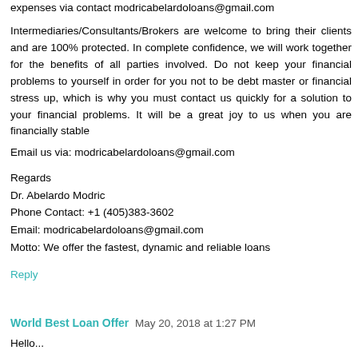expenses via contact modricabelardoloans@gmail.com
Intermediaries/Consultants/Brokers are welcome to bring their clients and are 100% protected. In complete confidence, we will work together for the benefits of all parties involved. Do not keep your financial problems to yourself in order for you not to be debt master or financial stress up, which is why you must contact us quickly for a solution to your financial problems. It will be a great joy to us when you are financially stable
Email us via: modricabelardoloans@gmail.com
Regards
Dr. Abelardo Modric
Phone Contact: +1 (405)383-3602
Email: modricabelardoloans@gmail.com
Motto: We offer the fastest, dynamic and reliable loans
Reply
World Best Loan Offer  May 20, 2018 at 1:27 PM
Hello...